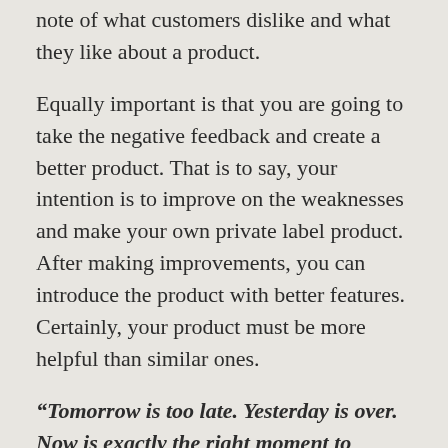note of what customers dislike and what they like about a product.
Equally important is that you are going to take the negative feedback and create a better product. That is to say, your intention is to improve on the weaknesses and make your own private label product. After making improvements, you can introduce the product with better features. Certainly, your product must be more helpful than similar ones.
“Tomorrow is too late. Yesterday is over. Now is exactly the right moment to start.” (anonymous)
Launching Your Product
Once you figure out your niche, you can focus